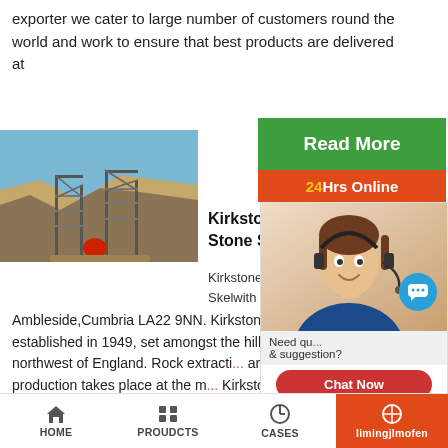exporter we cater to large number of customers round the world and work to ensure that best products are delivered at
[Figure (photo): Photo of a quarry with metal scaffolding/frame structures and rocky hillside in background under blue sky]
[Figure (other): Read More green button overlay]
[Figure (other): 24Hrs Online orange/red banner overlay]
Kirkstone Qu... Stone Suppli...
Kirkstone Quarrie... Skelwith Bridge,N... Ambleside,Cumbria LA22 9NN. Kirkstone Quarrie... business established in 1949, set amongst the hill... District in the northwest of England. Rock extracti... architectural stone production takes place at the m... Kirkstone Pass over 500m above sea level.
[Figure (photo): Chat widget with support agent woman wearing headset, chat bubble icon, Need question & suggestion text, Chat Now button, Enquiry section, limingjlmofen link]
HOME    PROUDCTS    CASES    limingjlmofen